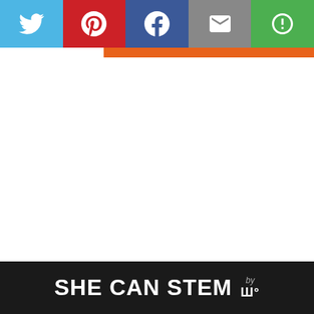[Figure (screenshot): Social sharing bar with Twitter (blue), Pinterest (red), Facebook (blue), Email (grey), and a green circle/share button]
[Figure (screenshot): Orange horizontal bar below social sharing bar]
[Figure (screenshot): Teal heart/favourite button (circular)]
[Figure (screenshot): White share button (circular) with share icon]
[Figure (screenshot): WHAT'S NEXT panel with thumbnail and text: The TOP 10 BEST Recip...]
[Figure (screenshot): Bottom dark banner with text SHE CAN STEM and logo]